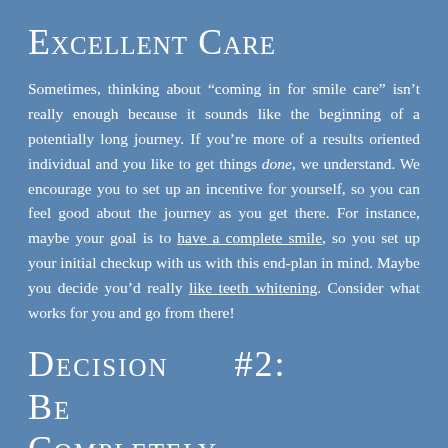Excellent Care
Sometimes, thinking about “coming in for smile care” isn’t really enough because it sounds like the beginning of a potentially long journey. If you’re more of a results oriented individual and you like to get things done, we understand. We encourage you to set up an incentive for yourself, so you can feel good about the journey as you get there. For instance, maybe your goal is to have a complete smile, so you set up your initial checkup with us with this end-plan in mind. Maybe you decide you’d really like teeth whitening. Consider what works for you and go from there!
Decision #2: Be Completely Honest About Prevention With